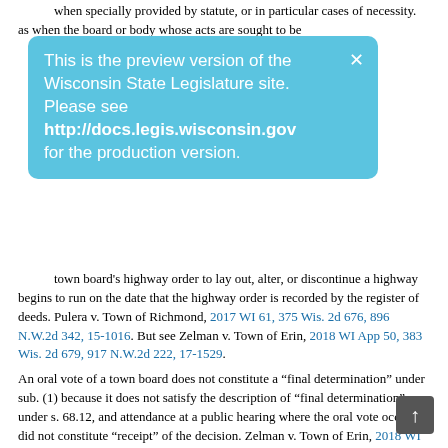when specially provided by statute, or in particular cases of necessity. as when the board or body whose acts are sought to be
[Figure (screenshot): Light blue preview banner overlay reading: 'This is the preview version of the Wisconsin State Legislature site. Please see http://docs.legis.wisconsin.gov for the production version.']
town board's highway order to lay out, alter, or discontinue a highway begins to run on the date that the highway order is recorded by the register of deeds. Pulera v. Town of Richmond, 2017 WI 61, 375 Wis. 2d 676, 896 N.W.2d 342, 15-1016. But see Zelman v. Town of Erin, 2018 WI App 50, 383 Wis. 2d 679, 917 N.W.2d 222, 17-1529.
An oral vote of a town board does not constitute a “final determination” under sub. (1) because it does not satisfy the description of “final determination” under s. 68.12, and attendance at a public hearing where the oral vote occurred did not constitute “receipt” of the decision. Zelman v. Town of Erin, 2018 WI App 50, 383 Wis. 2d 679, 917 N.W.2d 222, 17-1529.
Remand to the municipality or administrative tribunal for further hearings is appropriate when the defect in the proceedings is one that can be cured, but, on remand, supplementation of the record by the government decision-maker with new evidence or to assert new grounds is not permitted. Outright reversal is appropriate when the due process violation cannot be cured on remand. This includes reversals in which the factual evidence fails to support the municipality's or administrative tribunal's decision. Because the decision-maker cannot supplement the record with new evidence or new grounds, the defect cannot be cured. Hartland Sportsmen'